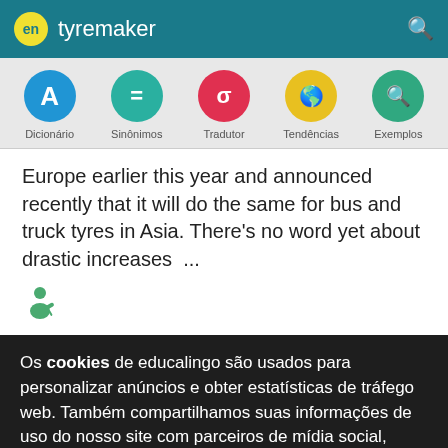en tyremaker
[Figure (infographic): Navigation icon row with five colored circles: Dicionário (blue A), Sinônimos (teal equals), Tradutor (red sigma), Tendências (yellow globe), Exemplos (green magnifier)]
Europe earlier this year and announced recently that it will do the same for bus and truck tyres in Asia. There's no word yet about drastic increases ...
[Figure (illustration): Small green person writing icon]
Os cookies de educalingo são usados para personalizar anúncios e obter estatísticas de tráfego web. Também compartilhamos suas informações de uso do nosso site com parceiros de mídia social, publicidade e análise.
Veja detalhes   Aceitar